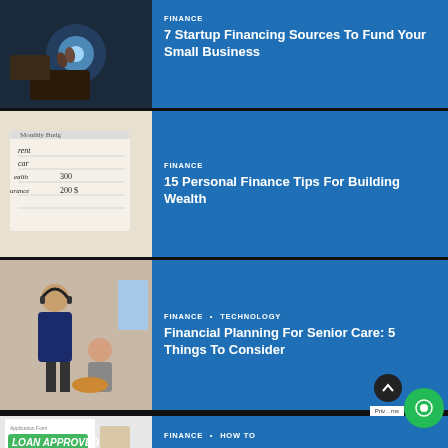[Figure (photo): Person using a digital tablet with glowing light effects in a dark tech environment]
FINANCE
7 Startup Financing Sources To Fund Your Small Business
[Figure (photo): Monthly budget notepad with handwritten entries for rent, car, health and amounts like 300, 200]
FINANCE
15 Personal Finance Tips For Building Wealth
[Figure (photo): Healthcare worker assisting elderly person with a meal]
FINANCE • TECHNOLOGY
Financial Planning For Senior Care: 5 Things To Consider
[Figure (photo): Tablet showing a loan approved application form with a stamp]
FINANCE • HOW TO